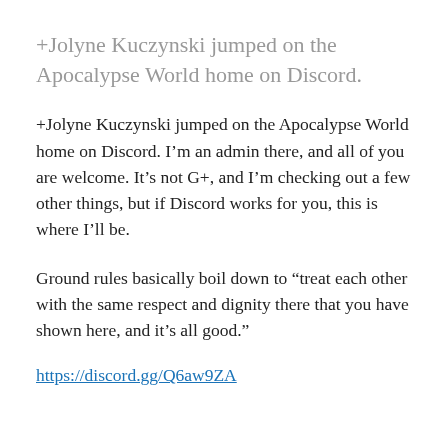+Jolyne Kuczynski jumped on the Apocalypse World home on Discord.
+Jolyne Kuczynski jumped on the Apocalypse World home on Discord. I’m an admin there, and all of you are welcome. It’s not G+, and I’m checking out a few other things, but if Discord works for you, this is where I’ll be.
Ground rules basically boil down to “treat each other with the same respect and dignity there that you have shown here, and it’s all good.”
https://discord.gg/Q6aw9ZA